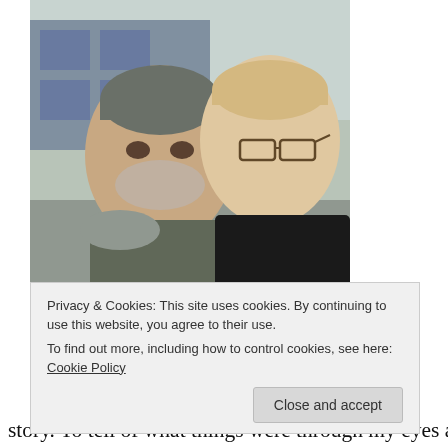[Figure (photo): Selfie photo of two people outdoors near a building with storefronts. Left person is an older man wearing a grey knit beanie hat with grey stubble beard. Right person is a younger man wearing glasses with short light hair, wearing a dark jacket.]
Privacy & Cookies: This site uses cookies. By continuing to use this website, you agree to their use.
To find out more, including how to control cookies, see here: Cookie Policy
Close and accept
story. To tell of what things were through my eyes and my